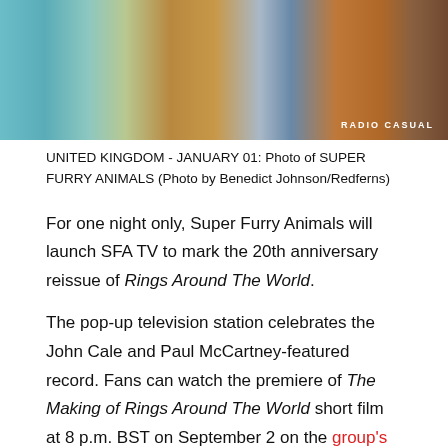[Figure (photo): Close-up photo of people wearing jackets — blue denim, orange/tan jacket, another jacket with 'RADIO CASUAL' text visible]
UNITED KINGDOM - JANUARY 01: Photo of SUPER FURRY ANIMALS (Photo by Benedict Johnson/Redferns)
For one night only, Super Furry Animals will launch SFA TV to mark the 20th anniversary reissue of Rings Around The World.
The pop-up television station celebrates the John Cale and Paul McCartney-featured record. Fans can watch the premiere of The Making of Rings Around The World short film at 8 p.m. BST on September 2 on the group's YouTube channel. A restored “Receptacle For The Respectable” video will also premiere at 8:20 p.m.